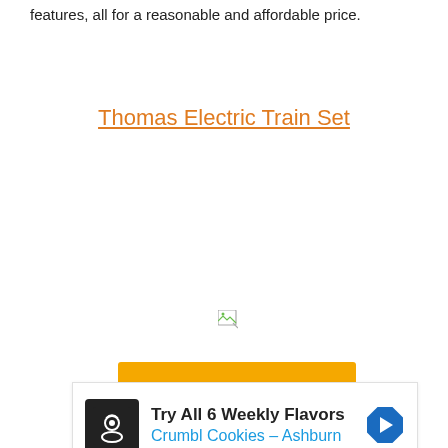features, all for a reasonable and affordable price.
Thomas Electric Train Set
[Figure (other): Broken/missing image placeholder icon]
[Figure (other): Orange button/banner]
[Figure (other): Advertisement: Try All 6 Weekly Flavors Crumbl Cookies - Ashburn]